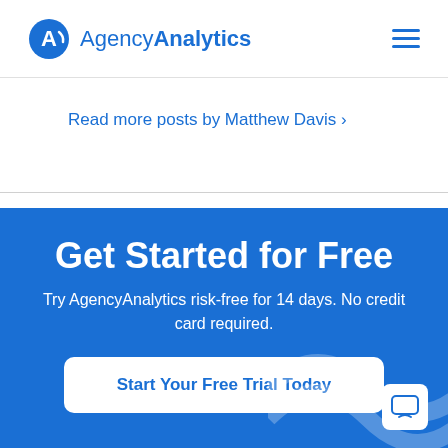AgencyAnalytics
Read more posts by Matthew Davis ›
Get Started for Free
Try AgencyAnalytics risk-free for 14 days. No credit card required.
Start Your Free Trial Today